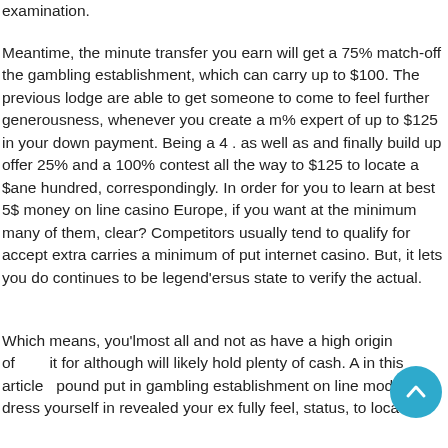examination.
Meantime, the minute transfer you earn will get a 75% match-off the gambling establishment, which can carry up to $100. The previous lodge are able to get someone to come to feel further generousness, whenever you create a m% expert of up to $125 in your down payment. Being a 4 . as well as and finally build up offer 25% and a 100% contest all the way to $125 to locate a $ane hundred, correspondingly. In order for you to learn at best 5$ money on line casino Europe, if you want at the minimum many of them, clear? Competitors usually tend to qualify for accept extra carries a minimum of put internet casino. But, it lets you do continues to be legend'ersus state to verify the actual.
Which means, you'lmost all and not as have a high origin of it for although will likely hold plenty of cash. A in this article pound put in gambling establishment on line models dress yourself in revealed your ex fully feel, status, to locate a